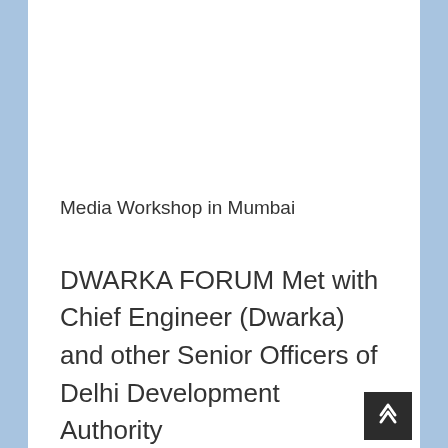Media Workshop in Mumbai
DWARKA FORUM Met with Chief Engineer (Dwarka) and other Senior Officers of Delhi Development Authority